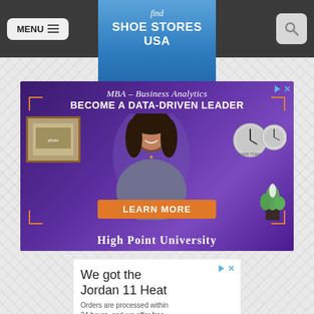find SHOE STORES USA
[Figure (illustration): Advertisement for High Point University MBA Business Analytics program. Text reads: MBA – Business Analytics, BECOME A DATA-DRIVEN LEADER, LEARN MORE, HIGH POINT UNIVERSITY. Shows a smiling woman in a purple-toned office setting with clocks on the wall.]
[Figure (screenshot): Advertisement snippet: We got the Jordan 11 Heat. Orders are processed within 24 hours, and we offer free]